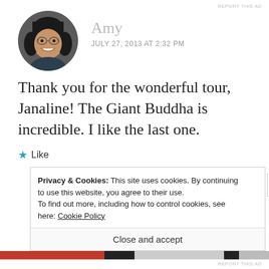REPORT THIS AD
[Figure (photo): Circular profile photo of Amy, an Asian woman with glasses, smiling, with dark hair]
Amy
JULY 27, 2013 AT 2:32 PM
Thank you for the wonderful tour, Janaline! The Giant Buddha is incredible. I like the last one.
★ Like
Privacy & Cookies: This site uses cookies. By continuing to use this website, you agree to their use.
To find out more, including how to control cookies, see here: Cookie Policy
Close and accept
REPORT THIS AD